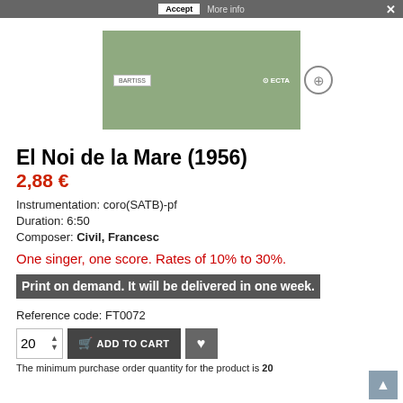[Figure (screenshot): Cookie consent bar with Accept button and More info text, and a close X button]
[Figure (photo): Product thumbnail image with green background, showing logos on left and right]
El Noi de la Mare (1956)
2,88 €
Instrumentation: coro(SATB)-pf
Duration: 6:50
Composer: Civil, Francesc
One singer, one score. Rates of 10% to 30%.
Print on demand. It will be delivered in one week.
Reference code: FT0072
The minimum purchase order quantity for the product is 20